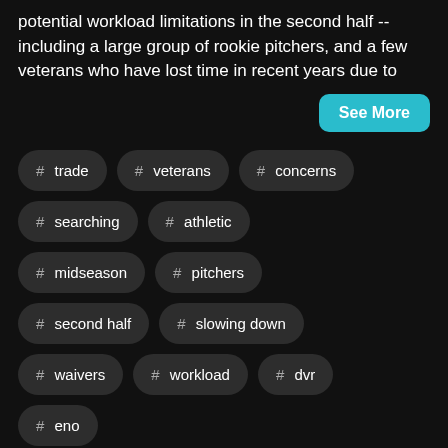potential workload limitations in the second half -- including a large group of rookie pitchers, and a few veterans who have lost time in recent years due to
See More
# trade
# veterans
# concerns
# searching
# athletic
# midseason
# pitchers
# second half
# slowing down
# waivers
# workload
# dvr
# eno
Young Hitters to Target & Why the